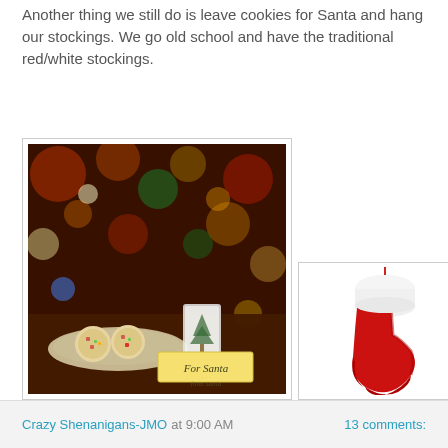Another thing we still do is leave cookies for Santa and hang our stockings. We go old school and have the traditional red/white stockings.
[Figure (photo): Photo of cookies on a plate with a glass of milk and a 'For Santa' sign in front of a Christmas tree with bokeh lights in the background]
[Figure (photo): Photo of a red and white Christmas stocking on a white background]
What's your Christmas Traditions? Link up and let us get to know them!
Crazy Shenanigans-JMO at 9:00 AM    13 comments: